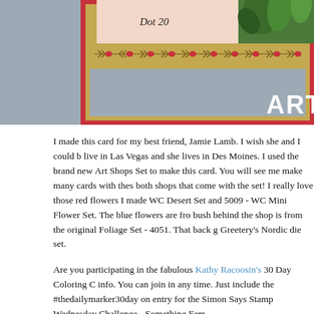[Figure (photo): A handmade greeting card with a red border, tan/gold patterned inner frame with arrow/diamond border design, a pink card panel with 'Dot 20' written in script, green foliage/plant elements in upper right, on a blue-gray background. An 'ART' logo watermark is visible in lower right.]
I made this card for my best friend, Jamie Lamb. I wish she and I could b... live in Las Vegas and she lives in Des Moines. I used the brand new Art... Shops Set to make this card. You will see me make many cards with thes... both shops that come with the set! I really love those red flowers I made... WC Desert Set and 5009 - WC Mini Flower Set. The blue flowers are fro... bush behind the shop is from the original Foliage Set - 4051. That back g... Greetery's Nordic die set.
Are you participating in the fabulous Kathy Racoosin's 30 Day Coloring C... info. You can join in any time. Just include the #thedailymarker30day on... entry for the Simon Says Stamp Wednesday Challenge - Something Fem...
Thank you for checking out my blog!  You can find more of my cards on m...